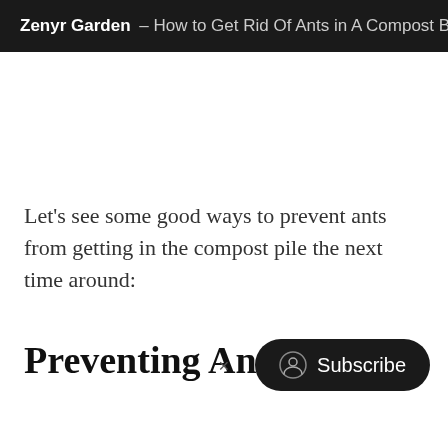Zenyr Garden – How to Get Rid Of Ants in A Compost B
Let's see some good ways to prevent ants from getting in the compost pile the next time around:
Preventing Ants From Getting